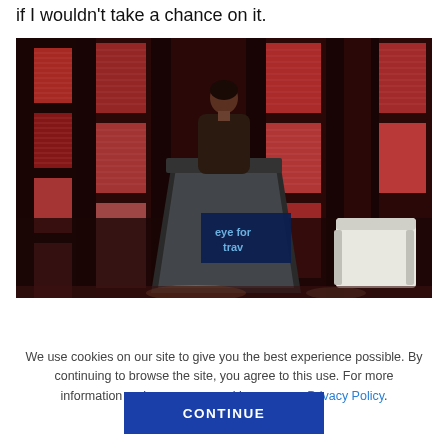if I wouldn't take a chance on it.
[Figure (photo): A woman speaking at a podium with an 'eye for travel' sign, on a stage with red-lit decorative panels in the background. A white chair is visible to the right.]
We use cookies on our site to give you the best experience possible. By continuing to browse the site, you agree to this use. For more information on how we use cookies, see our Privacy Policy.
CONTINUE